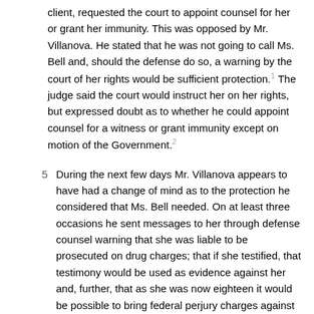client, requested the court to appoint counsel for her or grant her immunity. This was opposed by Mr. Villanova. He stated that he was not going to call Ms. Bell and, should the defense do so, a warning by the court of her rights would be sufficient protection.1 The judge said the court would instruct her on her rights, but expressed doubt as to whether he could appoint counsel for a witness or grant immunity except on motion of the Government.2
5   During the next few days Mr. Villanova appears to have had a change of mind as to the protection he considered that Ms. Bell needed. On at least three occasions he sent messages to her through defense counsel warning that she was liable to be prosecuted on drug charges; that if she testified, that testimony would be used as evidence against her and, further, that as she was now eighteen it would be possible to bring federal perjury charges against her.3 Not content that these messages would adequately alert her to her peril, he sent a subpoena to Ms. Bell and had her brought into his office on Wednesday, April 16.4 The subpoena would not appear to have had any legal validity as it was made out for a day already past. Originally addressed to Mike McBride, his name had been scratched out and Sally Bell's inserted instead. The